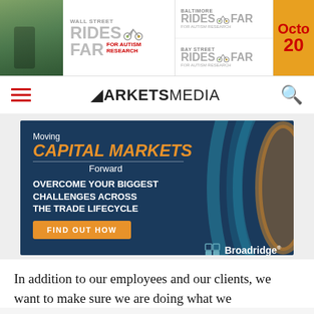[Figure (illustration): Wall Street Rides FAR for Autism Research banner advertisement with Baltimore Rides FAR, Bay Street Rides FAR logos and October date. Bicycle charity event promotional banner.]
MARKETS MEDIA
[Figure (illustration): Broadridge Financial Solutions advertisement: Moving CAPITAL MARKETS Forward. Overcome your biggest challenges across the trade lifecycle. Find out how.]
In addition to our employees and our clients, we want to make sure we are doing what we